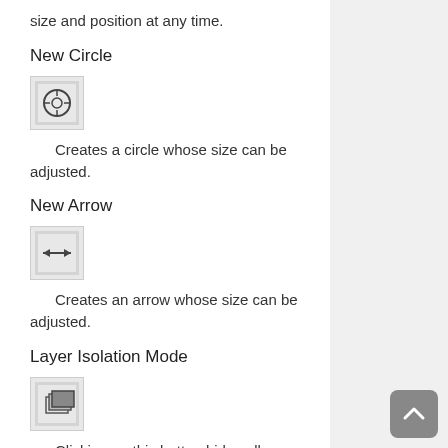size and position at any time.
New Circle
[Figure (screenshot): Icon button showing a circle with crosshair target symbol]
Creates a circle whose size can be adjusted.
New Arrow
[Figure (screenshot): Icon button showing a double-headed horizontal arrow]
Creates an arrow whose size can be adjusted.
Layer Isolation Mode
[Figure (screenshot): Icon button showing a layered rectangles symbol]
Clicking on this button hides all